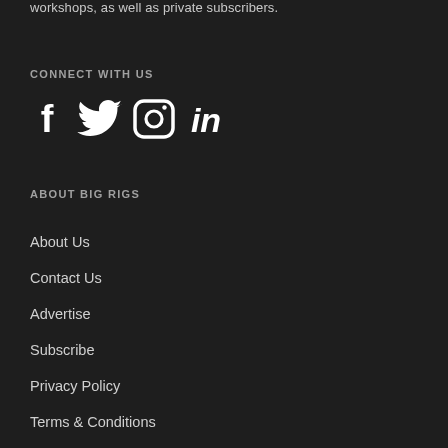workshops, as well as private subscribers.
CONNECT WITH US
[Figure (illustration): Social media icons: Facebook, Twitter, Instagram, LinkedIn]
ABOUT BIG RIGS
About Us
Contact Us
Advertise
Subscribe
Privacy Policy
Terms & Conditions